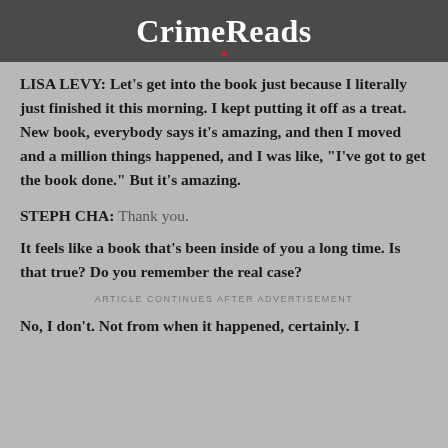CrimeReads
LISA LEVY: Let’s get into the book just because I literally just finished it this morning. I kept putting it off as a treat. New book, everybody says it’s amazing, and then I moved and a million things happened, and I was like, “I’ve got to get the book done.” But it’s amazing.
STEPH CHA: Thank you.
It feels like a book that’s been inside of you a long time. Is that true? Do you remember the real case?
ARTICLE CONTINUES AFTER ADVERTISEMENT
No, I don’t. Not from when it happened, certainly. I